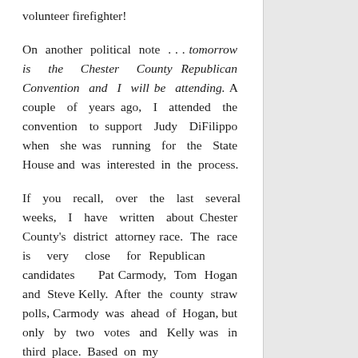volunteer firefighter!
On another political note . . . tomorrow is the Chester County Republican Convention and I will be attending. A couple of years ago, I attended the convention to support Judy DiFilippo when she was running for the State House and was interested in the process.
If you recall, over the last several weeks, I have written about Chester County's district attorney race. The race is very close for Republican candidates Pat Carmody, Tom Hogan and Steve Kelly. After the county straw polls, Carmody was ahead of Hogan, but only by two votes and Kelly was in third place. Based on my